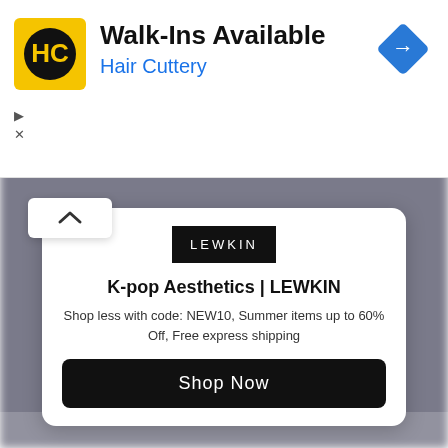[Figure (logo): Hair Cuttery ad banner with HC logo, Walk-Ins Available text, Hair Cuttery subtitle, blue navigation diamond icon, and ad controls (play and close icons)]
[Figure (logo): LEWKIN brand logo - black square with white LEWKIN text in spaced caps]
K-pop Aesthetics | LEWKIN
Shop less with code: NEW10, Summer items up to 60% Off, Free express shipping
Shop Now